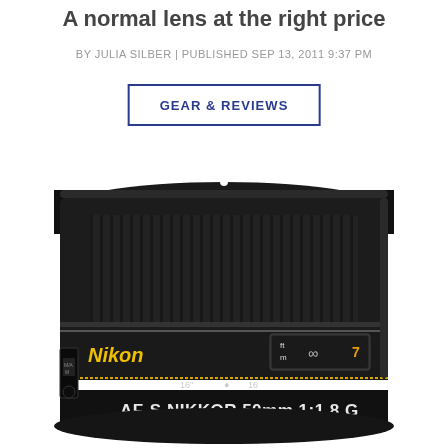A normal lens at the right price
BY JULIA SILBER | PUBLISHED SEP 13, 2011 9:37 PM
GEAR & REVIEWS
[Figure (photo): Nikon AF-S NIKKOR 50mm 1:1.8 G lens photographed from front-top angle, showing the focus ring, distance window displaying ft and m scales with infinity symbol, and the lens barrel markings.]